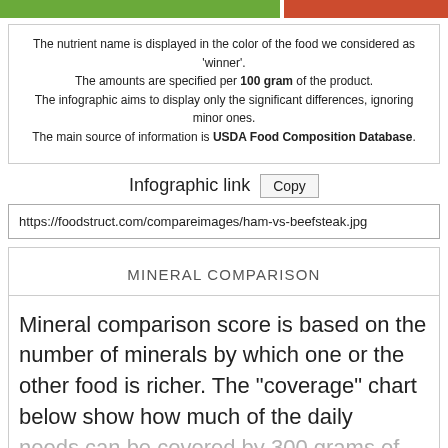[Figure (infographic): Two-color horizontal bar: green on left (~63%), red on right (~37%)]
The nutrient name is displayed in the color of the food we considered as 'winner'. The amounts are specified per 100 gram of the product. The infographic aims to display only the significant differences, ignoring minor ones. The main source of information is USDA Food Composition Database.
Infographic link  Copy
https://foodstruct.com/compareimages/ham-vs-beefsteak.jpg
MINERAL COMPARISON
Mineral comparison score is based on the number of minerals by which one or the other food is richer. The "coverage" chart below show how much of the daily needs can be covered by 300 grams of the food